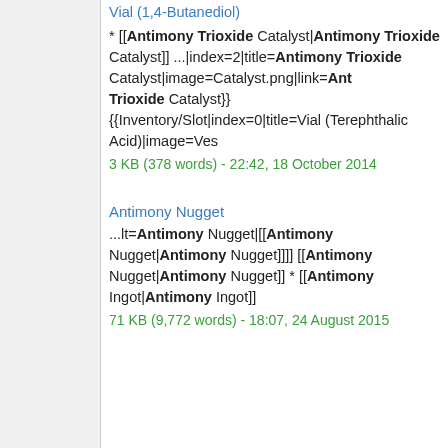Vial (1,4-Butanediol)
* [[Antimony Trioxide Catalyst|Antimony Trioxide Catalyst]] ...|index=2|title=Antimony Trioxide Catalyst|image=Catalyst.png|link=Antimony Trioxide Catalyst}} {{Inventory/Slot|index=0|title=Vial (Terephthalic Acid)|image=Ves
3 KB (378 words) - 22:42, 18 October 2014
Antimony Nugget
...lt=Antimony Nugget|[[Antimony Nugget|Antimony Nugget]]]] [[Antimony Nugget|Antimony Nugget]] * [[Antimony Ingot|Antimony Ingot]]
71 KB (9,772 words) - 18:07, 24 August 2015